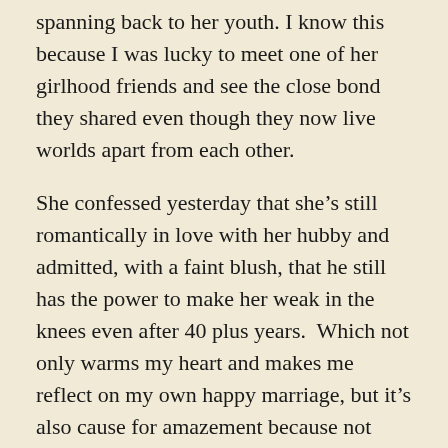spanning back to her youth. I know this because I was lucky to meet one of her girlhood friends and see the close bond they shared even though they now live worlds apart from each other.
She confessed yesterday that she’s still romantically in love with her hubby and admitted, with a faint blush, that he still has the power to make her weak in the knees even after 40 plus years.  Which not only warms my heart and makes me reflect on my own happy marriage, but it’s also cause for amazement because not only does Dory and her husband love each other and still love what they do for a living, they are in their early seventies.
Think about that the next time you grumble and drag yourself out of bed to get ready for work. These folks could easily retire and live a quiet, sedate life and in fact could have done that years ago, but because they both truly love what they do